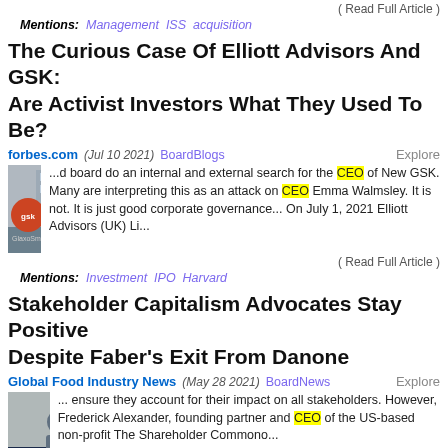( Read Full Article )
Mentions: Management ISS acquisition
The Curious Case Of Elliott Advisors And GSK: Are Activist Investors What They Used To Be?
forbes.com (Jul 10 2021) BoardBlogs Explore
[Figure (photo): GSK GlaxoSmithKline building exterior with orange GSK logo]
...d board do an internal and external search for the CEO of New GSK. Many are interpreting this as an attack on CEO Emma Walmsley. It is not. It is just good corporate governance... On July 1, 2021 Elliott Advisors (UK) Li...
( Read Full Article )
Mentions: Investment IPO Harvard
Stakeholder Capitalism Advocates Stay Positive Despite Faber's Exit From Danone
Global Food Industry News (May 28 2021) BoardNews Explore
[Figure (photo): Person standing at podium at Global event with 61st text visible]
... ensure they account for their impact on all stakeholders. However, Frederick Alexander, founding partner and CEO of the US-based non-profit The Shareholder Commono...